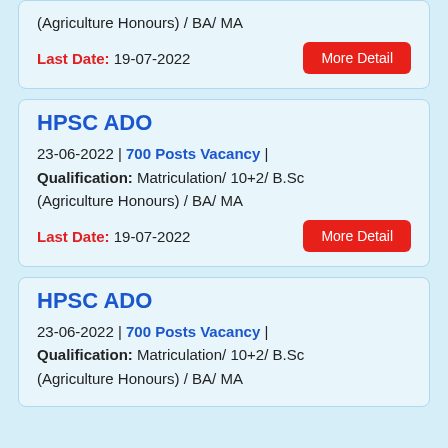(Agriculture Honours) / BA/ MA
Last Date: 19-07-2022
HPSC ADO
23-06-2022 | 700 Posts Vacancy | Qualification: Matriculation/ 10+2/ B.Sc (Agriculture Honours) / BA/ MA
Last Date: 19-07-2022
HPSC ADO
23-06-2022 | 700 Posts Vacancy | Qualification: Matriculation/ 10+2/ B.Sc (Agriculture Honours) / BA/ MA